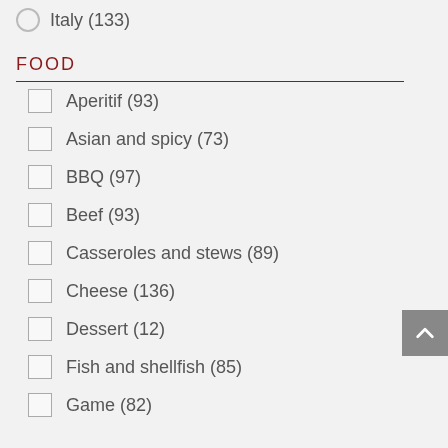Italy (133)
FOOD
Aperitif (93)
Asian and spicy (73)
BBQ (97)
Beef (93)
Casseroles and stews (89)
Cheese (136)
Dessert (12)
Fish and shellfish (85)
Game (82)